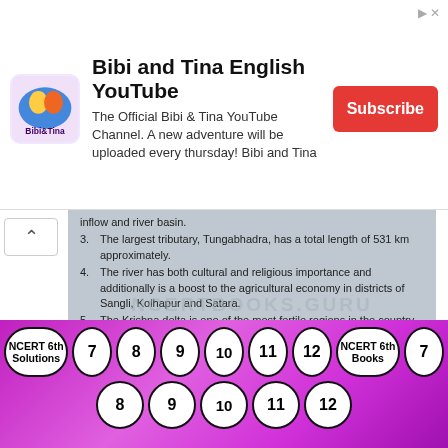[Figure (screenshot): YouTube ad banner for Bibi and Tina English YouTube channel with logo, description text, and Subscribe button]
inflow and river basin.
3. The largest tributary, Tungabhadra, has a total length of 531 km approximately.
4. The river has both cultural and religious importance and additionally is a boost to the agricultural economy in districts of Sangli, Kolhapur and Satara.
5. The Krishna delta is one of the most fertile regions in the country due to the deposits brought by the river
6. The Krishna Pushkaram river which takes place once every twelve years is a significant tourist attraction.
7. The Krishna Wildlife sanctuary in the estuaries of the Krishna river is home to a large number of migratory birds.
8. The Krishna basin is triangular in shape surrounded by the Western ghats, Balaghat range and the eastern ghats.
9. The majority of the region in the Krishna basin system is arable due to the availability of water.
10. The river has hydroelectric power plants on it which harness its potential water energy.
[Figure (screenshot): Bottom navigation bar with oval buttons: NCERT 6th Solutions, 7, 8, 9, 10, 11, 12, NCERT 6th Books, 7, 8, 9, 10, 11, 12 on purple gradient background]